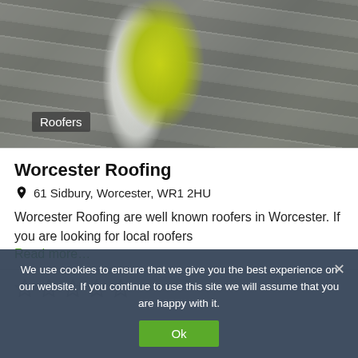[Figure (photo): A roofer wearing a yellow-green high-visibility vest working on roof tiles, with teal underlay visible. Badge overlay reads 'Roofers'.]
Worcester Roofing
61 Sidbury, Worcester, WR1 2HU
Worcester Roofing are well known roofers in Worcester. If you are looking for local roofers
Read more…
[Figure (other): Five empty (unfilled) star rating icons in a row]
We use cookies to ensure that we give you the best experience on our website. If you continue to use this site we will assume that you are happy with it.
Ok